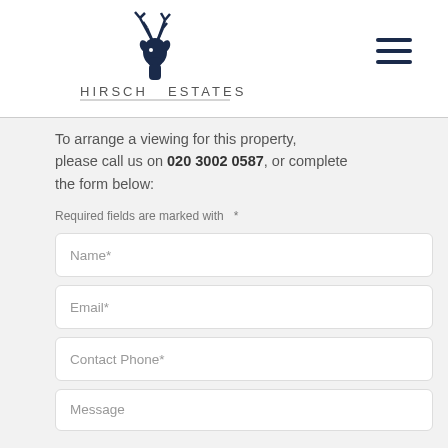HIRSCH ESTATES
To arrange a viewing for this property, please call us on 020 3002 0587, or complete the form below:
Required fields are marked with *
Name*
Email*
Contact Phone*
Message